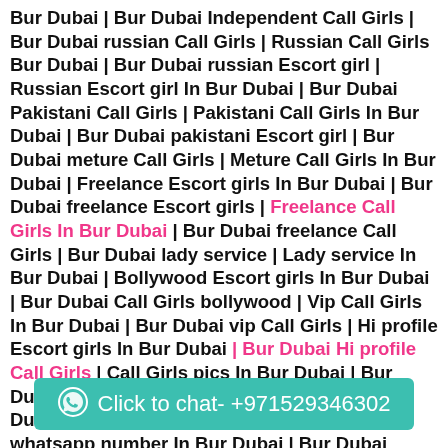Bur Dubai | Bur Dubai Independent Call Girls | Bur Dubai russian Call Girls | Russian Call Girls Bur Dubai | Bur Dubai russian Escort girl | Russian Escort girl In Bur Dubai | Bur Dubai Pakistani Call Girls | Pakistani Call Girls In Bur Dubai | Bur Dubai pakistani Escort girl | Bur Dubai meture Call Girls | Meture Call Girls In Bur Dubai | Freelance Escort girls In Bur Dubai | Bur Dubai freelance Escort girls | Freelance Call Girls In Bur Dubai | Bur Dubai freelance Call Girls | Bur Dubai lady service | Lady service In Bur Dubai | Bollywood Escort girls In Bur Dubai | Bur Dubai Call Girls bollywood | Vip Call Girls In Bur Dubai | Bur Dubai vip Call Girls | Hi profile Escort girls In Bur Dubai | Bur Dubai Hi profile Call Girls | Call Girls pics In Bur Dubai | Bur Dubai Call Girls pics | Escort girls pics In Bur Dubai | Bur Dubai Escort girls pics | Call Girls whatsapp number In Bur Dubai | Bur Dubai Escort girls whatsapp number | Escort girls whatsapp numer In Bur Dubai | Bur Duba Housewife paid sex In Bur Dubai | Bur Dubai
Click to chat- +971529346302